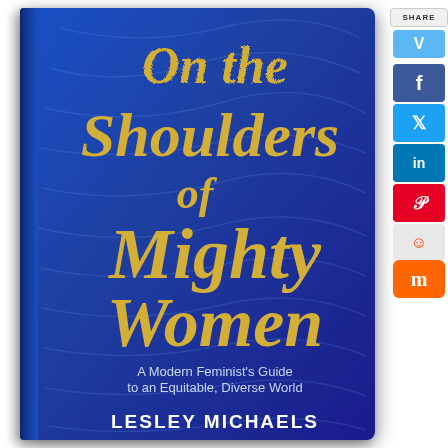[Figure (illustration): Book cover of 'On the Shoulders of Mighty Women: A Modern Feminist's Guide to an Equitable, Diverse World' by Lesley Michaels. Dark blue textured background with gold script typography for the main title and white author name at bottom.]